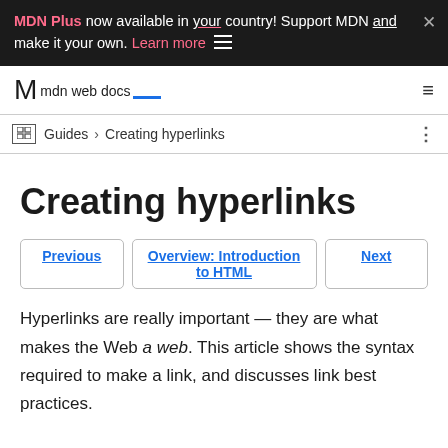MDN Plus now available in your country! Support MDN and make it your own. Learn more ×
mdn web docs
Guides > Creating hyperlinks
Creating hyperlinks
Previous
Overview: Introduction to HTML
Next
Hyperlinks are really important — they are what makes the Web a web. This article shows the syntax required to make a link, and discusses link best practices.